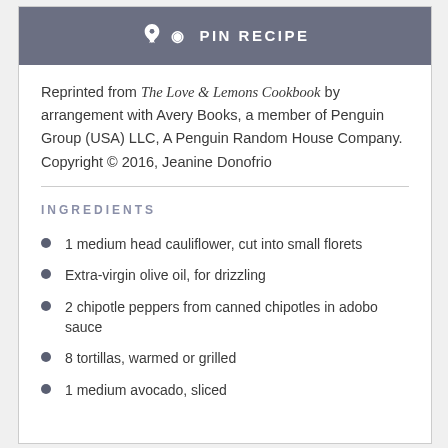PIN RECIPE
Reprinted from The Love & Lemons Cookbook by arrangement with Avery Books, a member of Penguin Group (USA) LLC, A Penguin Random House Company. Copyright © 2016, Jeanine Donofrio
INGREDIENTS
1 medium head cauliflower, cut into small florets
Extra-virgin olive oil, for drizzling
2 chipotle peppers from canned chipotles in adobo sauce
8 tortillas, warmed or grilled
1 medium avocado, sliced